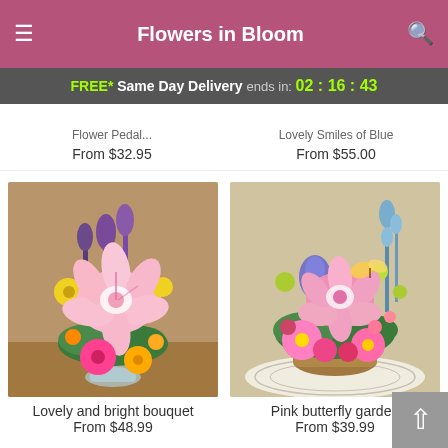Flowers in Bloom
FREE* Same Day Delivery ends in: 02 : 16 : 43
Flower Pedal... From $32.95
Lovely Smiles of Blue From $55.00
[Figure (photo): A colorful bouquet arrangement featuring pink stargazer lilies, yellow daisies, purple stock flowers, and pink gerbera daisies in a glass vase on a wooden table.]
Lovely and bright bouquet
From $48.99
[Figure (photo): A pink butterfly garden arrangement featuring pink gerbera daisies, pink stargazer lilies, blue delphinium, and mixed spring flowers on a wicker doily.]
Pink butterfly garden
From $39.99